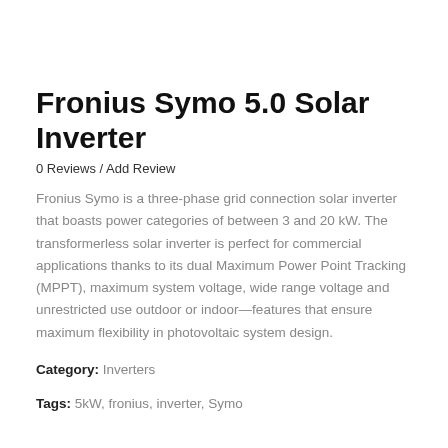Fronius Symo 5.0 Solar Inverter
0 Reviews / Add Review
Fronius Symo is a three-phase grid connection solar inverter that boasts power categories of between 3 and 20 kW. The transformerless solar inverter is perfect for commercial applications thanks to its dual Maximum Power Point Tracking (MPPT), maximum system voltage, wide range voltage and unrestricted use outdoor or indoor—features that ensure maximum flexibility in photovoltaic system design.
Category: Inverters
Tags: 5kW, fronius, inverter, Symo